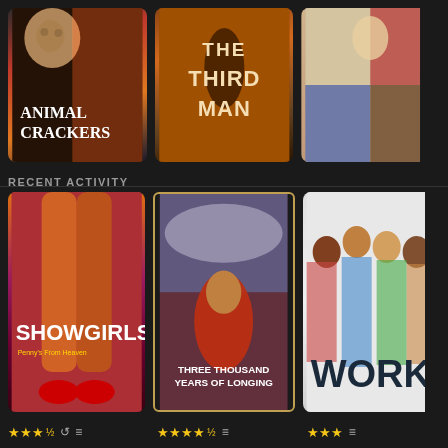[Figure (photo): Movie poster for Animal Crackers (Marx Brothers)]
[Figure (photo): Movie poster for The Third Man]
[Figure (photo): Partially visible collage movie poster]
RECENT ACTIVITY
[Figure (photo): Movie poster for Showgirls 2: Penny's From Heaven]
[Figure (photo): Movie poster for Three Thousand Years of Longing]
[Figure (photo): Partially visible movie poster with people]
★★★½ ↺ ≡
★★★★½ ≡
★★★ ≡